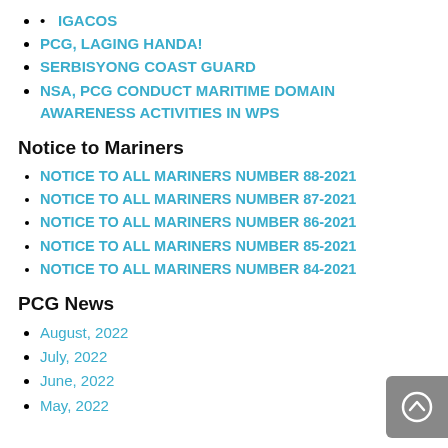IGACOS
PCG, LAGING HANDA!
SERBISYONG COAST GUARD
NSA, PCG CONDUCT MARITIME DOMAIN AWARENESS ACTIVITIES IN WPS
Notice to Mariners
NOTICE TO ALL MARINERS NUMBER 88-2021
NOTICE TO ALL MARINERS NUMBER 87-2021
NOTICE TO ALL MARINERS NUMBER 86-2021
NOTICE TO ALL MARINERS NUMBER 85-2021
NOTICE TO ALL MARINERS NUMBER 84-2021
PCG News
August, 2022
July, 2022
June, 2022
May, 2022